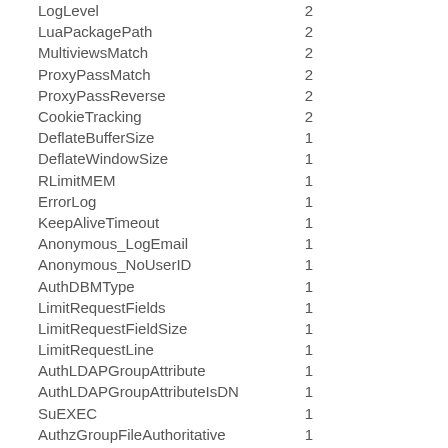| Directive | Count |
| --- | --- |
| LogLevel | 2 |
| LuaPackagePath | 2 |
| MultiviewsMatch | 2 |
| ProxyPassMatch | 2 |
| ProxyPassReverse | 2 |
| CookieTracking | 2 |
| DeflateBufferSize | 1 |
| DeflateWindowSize | 1 |
| RLimitMEM | 1 |
| ErrorLog | 1 |
| KeepAliveTimeout | 1 |
| Anonymous_LogEmail | 1 |
| Anonymous_NoUserID | 1 |
| AuthDBMType | 1 |
| LimitRequestFields | 1 |
| LimitRequestFieldSize | 1 |
| LimitRequestLine | 1 |
| AuthLDAPGroupAttribute | 1 |
| AuthLDAPGroupAttributeIsDN | 1 |
| SuEXEC | 1 |
| AuthzGroupFileAuthoritative | 1 |
| MaxKeepAliveRequests | 1 |
| AuthnCacheTimeout | 1 |
| MCacheMaxObjectSize | 1 |
| MCacheMinObjectSize | 1 |